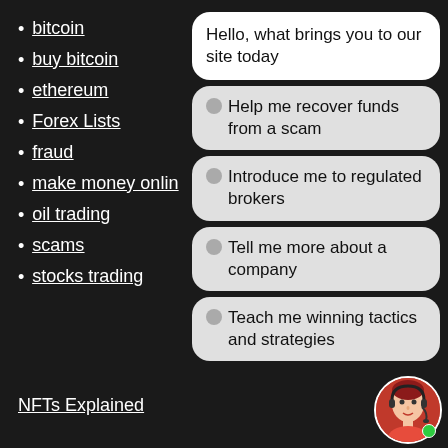bitcoin
buy bitcoin
ethereum
Forex Lists
fraud
make money online
oil trading
scams
stocks trading
NFTs Explained
Hello, what brings you to our site today
Help me recover funds from a scam
Introduce me to regulated brokers
Tell me more about a company
Teach me winning tactics and strategies
[Figure (photo): Avatar photo of a woman with headset/microphone, circular cropped, with green online indicator dot]